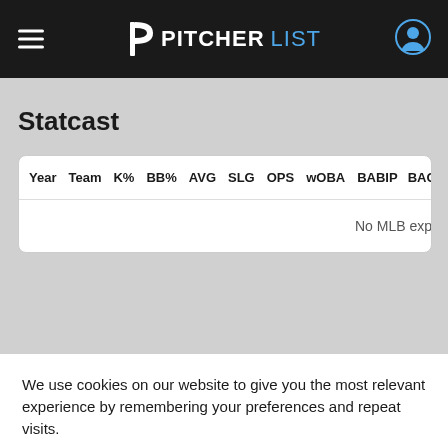PITCHERLIST
Statcast
| Year | Team | K% | BB% | AVG | SLG | OPS | wOBA | BABIP | BACON |
| --- | --- | --- | --- | --- | --- | --- | --- | --- | --- |
| No MLB experie |
We use cookies on our website to give you the most relevant experience by remembering your preferences and repeat visits.